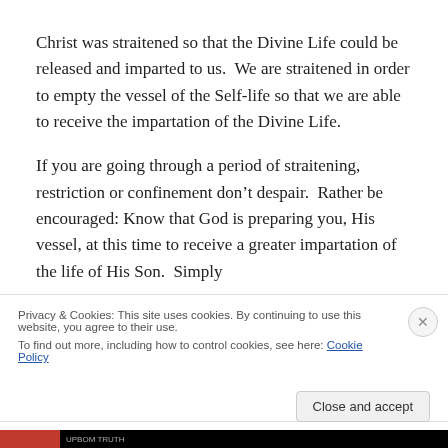Christ was straitened so that the Divine Life could be released and imparted to us.  We are straitened in order to empty the vessel of the Self-life so that we are able to receive the impartation of the Divine Life.
If you are going through a period of straitening, restriction or confinement don’t despair.  Rather be encouraged: Know that God is preparing you, His vessel, at this time to receive a greater impartation of the life of His Son.  Simply
Privacy & Cookies: This site uses cookies. By continuing to use this website, you agree to their use.
To find out more, including how to control cookies, see here: Cookie Policy
Close and accept